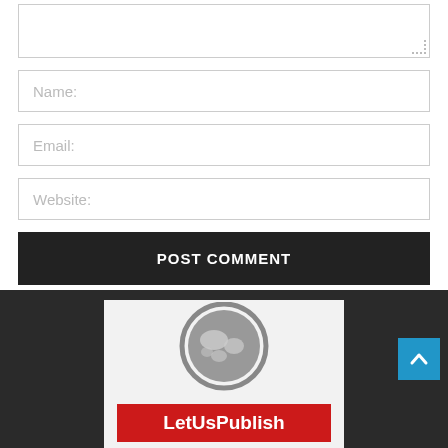[Figure (screenshot): Textarea input box (comment field) with resize handle at bottom right corner]
Name:
Email:
Website:
POST COMMENT
[Figure (logo): LetUsPublish logo with globe graphic above red banner containing white text 'LetUsPublish']